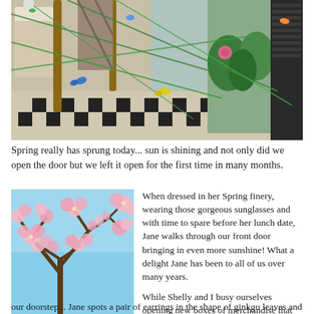[Figure (photo): Interior of a boutique clothing store decorated with green string, colorful butterflies, and spring decorations. Clothing hangs on racks, and the store has a black-and-white checkered floor.]
Spring really has sprung today... sun is shining and not only did we open the door but we left it open for the first time in many months.
[Figure (photo): Cherry blossom tree in bloom against a blue sky, with pink flowers.]
When dressed in her Spring finery, wearing those gorgeous sunglasses and with time to spare before her lunch date, Jane walks through our front door bringing in even more sunshine!  What a delight Jane has been to all of us over many years.

While Shelly and I busy ourselves opening new boxes of merchandise that the UPS man has just left upon our doorstep... Jane spots a pair of earrings in the shape of ginkgo leaves and just has to have them to complete her